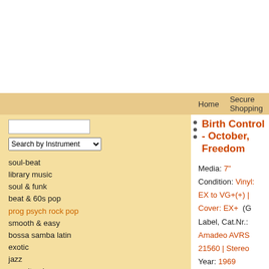Home  Secure Shopping  Payment Methods  Delivery Charges
Birth Control - October, Freedom
Media: 7"
Condition: Vinyl: EX to VG+(+) | Cover: EX+ (G
Label, Cat.Nr.: Amadeo AVRS 21560 | Stereo
Year: 1969
Country: Austria
Birth Control - October / Freedom
Please check out audio samples!
A. October
B. Freedom
soul-beat
library music
soul & funk
beat & 60s pop
prog psych rock pop
smooth & easy
bossa samba latin
exotic
jazz
soundtracks
deutsche schlager
punk & new wave
bargain
soul-beat
library music
soundtracks
soul funk
bossa samba latin